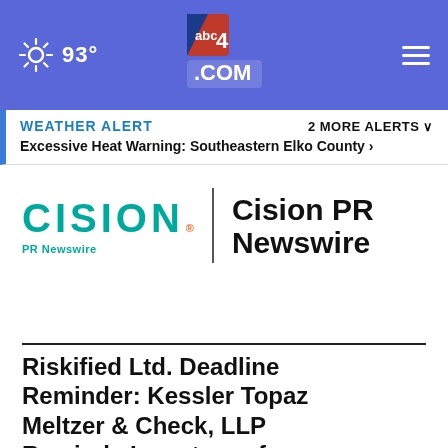[Figure (screenshot): Website navigation bar with blue background showing sun icon, 93° temperature, abc4.com logo in center, and hamburger menu on right]
WEATHER ALERT   2 MORE ALERTS ∨
Excessive Heat Warning: Southeastern Elko County ›
[Figure (logo): Cision PR Newswire logo with teal CISION text, PR Newswire subtitle, vertical divider, and bold Cision PR Newswire text]
Riskified Ltd. Deadline Reminder: Kessler Topaz Meltzer & Check, LLP Reminds Investors of